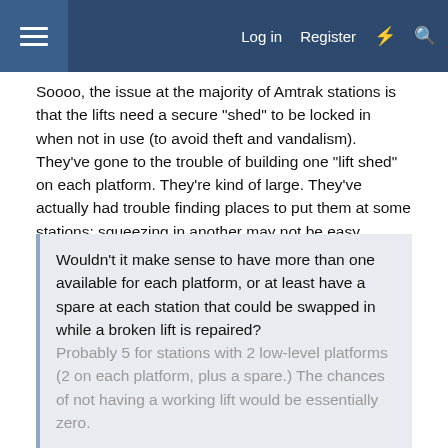Log in  Register
Soooo, the issue at the majority of Amtrak stations is that the lifts need a secure "shed" to be locked in when not in use (to avoid theft and vandalism). They've gone to the trouble of building one "lift shed" on each platform. They're kind of large. They've actually had trouble finding places to put them at some stations; squeezing in another may not be easy.
The station-based lifts are also kind of large. Moving from one platform to another is a big, slow process especially if you can't just roll them across a grade crossing and have to go up or down.
Wouldn't it make sense to have more than one available for each platform, or at least have a spare at each station that could be swapped in while a broken lift is repaired? Probably 5 for stations with 2 low-level platforms (2 on each platform, plus a spare.) The chances of not having a working lift would be essentially zero.